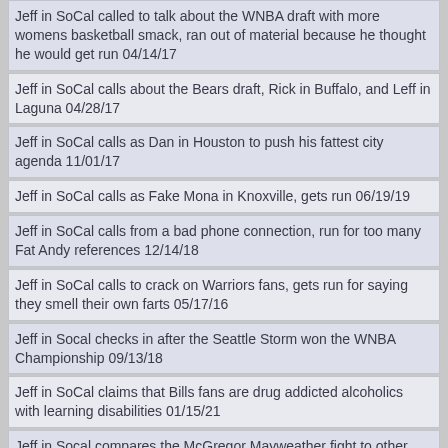Jeff in SoCal called to talk about the WNBA draft with more womens basketball smack, ran out of material because he thought he would get run 04/14/17
Jeff in SoCal calls about the Bears draft, Rick in Buffalo, and Leff in Laguna 04/28/17
Jeff in SoCal calls as Dan in Houston to push his fattest city agenda 11/01/17
Jeff in SoCal calls as Fake Mona in Knoxville, gets run 06/19/19
Jeff in SoCal calls from a bad phone connection, run for too many Fat Andy references 12/14/18
Jeff in SoCal calls to crack on Warriors fans, gets run for saying they smell their own farts 05/17/16
Jeff in Socal checks in after the Seattle Storm won the WNBA Championship 09/13/18
Jeff in SoCal claims that Bills fans are drug addicted alcoholics with learning disabilities 01/15/21
Jeff in Socal compares the McGregor Mayweather fight to other sports competing against each other 08/22/17
Jeff in SoCal gets choppered for a Kellen Winslow - Mona blast 06/14/19
Jeff in SoCal gets on the Smackoff watchlist for taking another run at Nooch 05/15/19
Jeff in Socal gets run for Popovich face smack 05/10/17
Jeff in SoCal gets run for saying that Rex in ABQ is leaking oil in his tighty whities 06/22/18
Jeff in SoCal gets run for something on Dan in Sacramento 06/30/17